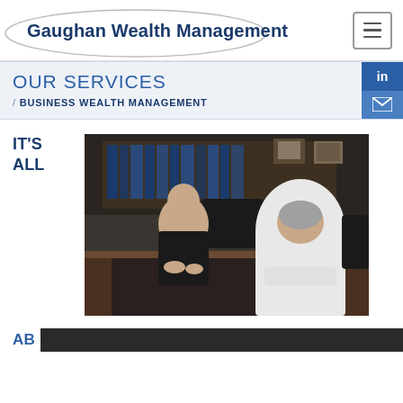Gaughan Wealth Management
OUR SERVICES / BUSINESS WEALTH MANAGEMENT
IT'S ALL
[Figure (photo): Two men in business attire having a meeting at a large wooden conference table in an office setting with bookshelves in the background.]
AB